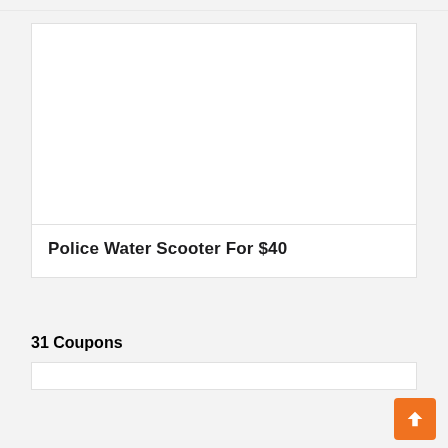[Figure (other): White card image area for Police Water Scooter product]
Police Water Scooter For $40
31 Coupons